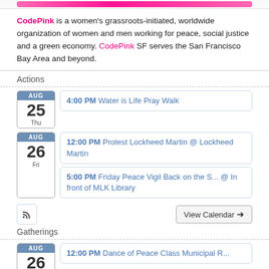CodePink is a women's grassroots-initiated, worldwide organization of women and men working for peace, social justice and a green economy. CodePink SF serves the San Francisco Bay Area and beyond.
Actions
AUG 25 Thu — 4:00 PM Water is Life Pray Walk
AUG 26 Fri — 12:00 PM Protest Lockheed Martin @ Lockheed Martin
AUG 26 Fri — 5:00 PM Friday Peace Vigil Back on the S... @ In front of MLK Library
Gatherings
AUG 26 Fri — 12:00 PM Dance of Peace Class Municipal R...
AUG 27 — 9:00 AM Peaceful Yoga w/Khalilah @ Online